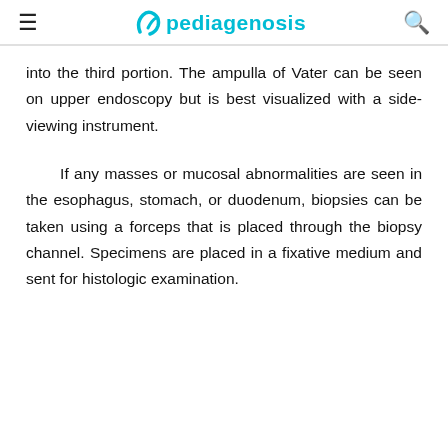pediagenosis
into the third portion. The ampulla of Vater can be seen on upper endoscopy but is best visualized with a side-viewing instrument.
If any masses or mucosal abnormalities are seen in the esophagus, stomach, or duodenum, biopsies can be taken using a forceps that is placed through the biopsy channel. Specimens are placed in a fixative medium and sent for histologic examination.